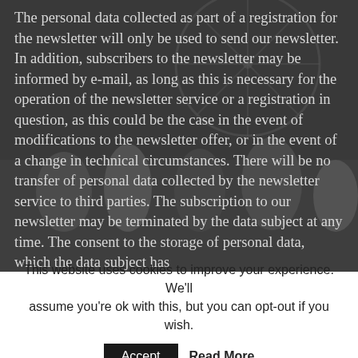[Figure (photo): Background photo showing a group of young women smiling in front of a Ferris wheel at night, with a dark semi-transparent overlay.]
The personal data collected as part of a registration for the newsletter will only be used to send our newsletter. In addition, subscribers to the newsletter may be informed by e-mail, as long as this is necessary for the operation of the newsletter service or a registration in question, as this could be the case in the event of modifications to the newsletter offer, or in the event of a change in technical circumstances. There will be no transfer of personal data collected by the newsletter service to third parties. The subscription to our newsletter may be terminated by the data subject at any time. The consent to the storage of personal data, which the data subject has
This website uses cookies to improve your experience. We'll assume you're ok with this, but you can opt-out if you wish.